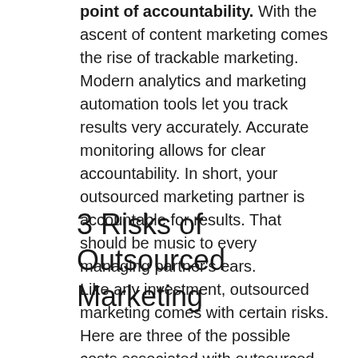point of accountability. With the ascent of content marketing comes the rise of trackable marketing. Modern analytics and marketing automation tools let you track results very accurately. Accurate monitoring allows for clear accountability. In short, your outsourced marketing partner is accountable for results. That should be music to every managing partner's ears.
3 Risks of Outsourced Marketing
Like any investment, outsourced marketing comes with certain risks. Here are three of the possible costs associated with outsourced marketing: